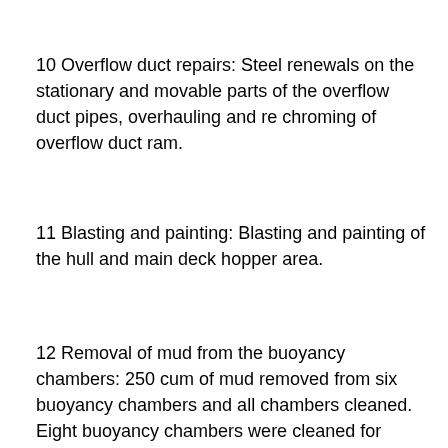10 Overflow duct repairs: Steel renewals on the stationary and movable parts of the overflow duct pipes, overhauling and re chroming of overflow duct ram.
11 Blasting and painting: Blasting and painting of the hull and main deck hopper area.
12 Removal of mud from the buoyancy chambers: 250 cum of mud removed from six buoyancy chambers and all chambers cleaned. Eight buoyancy chambers were cleaned for inspection. This caused complications for completing the for bottom door work. Side openings had to